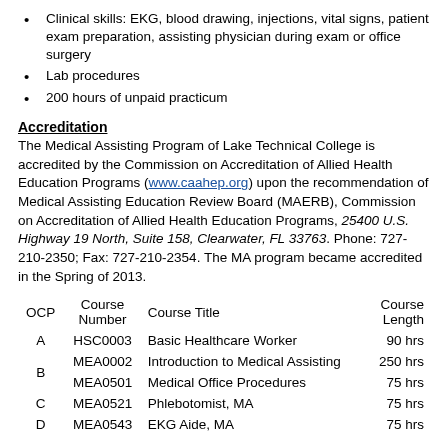Clinical skills: EKG, blood drawing, injections, vital signs, patient exam preparation, assisting physician during exam or office surgery
Lab procedures
200 hours of unpaid practicum
Accreditation
The Medical Assisting Program of Lake Technical College is accredited by the Commission on Accreditation of Allied Health Education Programs (www.caahep.org) upon the recommendation of Medical Assisting Education Review Board (MAERB), Commission on Accreditation of Allied Health Education Programs, 25400 U.S. Highway 19 North, Suite 158, Clearwater, FL 33763. Phone: 727-210-2350; Fax: 727-210-2354. The MA program became accredited in the Spring of 2013.
| OCP | Course Number | Course Title | Course Length |
| --- | --- | --- | --- |
| A | HSC0003 | Basic Healthcare Worker | 90 hrs |
| B | MEA0002 | Introduction to Medical Assisting | 250 hrs |
| B | MEA0501 | Medical Office Procedures | 75 hrs |
| C | MEA0521 | Phlebotomist, MA | 75 hrs |
| D | MEA0543 | EKG Aide, MA | 75 hrs |